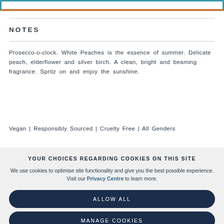NOTES
Prosecco-o-clock. White Peaches is the essence of summer. Delicate peach, elderflower and silver birch. A clean, bright and beaming fragrance. Spritz on and enjoy the sunshine.
Vegan | Responsibly Sourced | Cruelty Free | All Genders
YOUR CHOICES REGARDING COOKIES ON THIS SITE
We use cookies to optimise site functionality and give you the best possible experience. Visit our Privacy Centre to learn more.
ALLOW ALL
MANAGE COOKIES